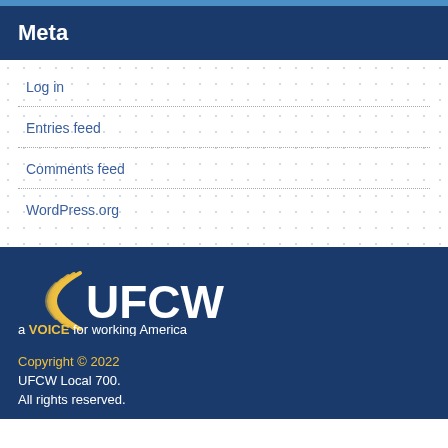Meta
Log in
Entries feed
Comments feed
WordPress.org
[Figure (logo): UFCW logo with text 'a VOICE for working America' on dark blue background]
Copyright © 2022
UFCW Local 700.
All rights reserved.